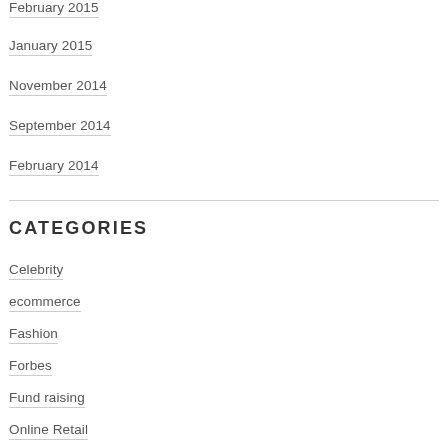February 2015
January 2015
November 2014
September 2014
February 2014
CATEGORIES
Celebrity
ecommerce
Fashion
Forbes
Fund raising
Online Retail